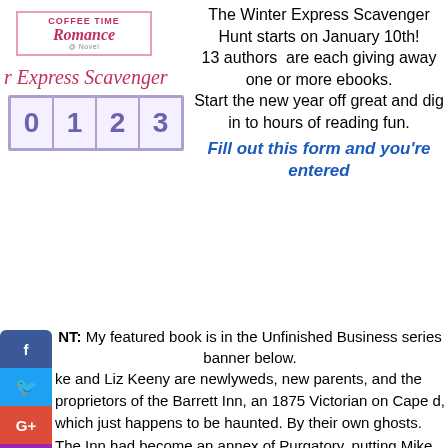[Figure (logo): Coffee Time Romance logo in pink bordered box with italic text]
r Express Scavenger
[Figure (illustration): Row of number blocks showing 0, 1, 2, 3 in purple on light purple background with border]
The Winter Express Scavenger Hunt starts on January 10th! 13 authors are each giving away one or more ebooks. Start the new year off great and dig in to hours of reading fun. Fill out this form and you're entered
NT: My featured book is in the Unfinished Business series banner below.
ke and Liz Keeny are newlyweds, new parents, and the proprietors of the Barrett Inn, an 1875 Victorian on Cape d, which just happens to be haunted. By their own ghosts. The Inn had become an annex of Purgatory, putting Mike, Liz, and their infant son in danger. Selling the historic seaside bed and breakfast was the only answer, one that Liz and her own tortured specter refused to consider. Were they doomed to follow the same path that led to disaster in their previous lives? Was getting out, getting away, enough?